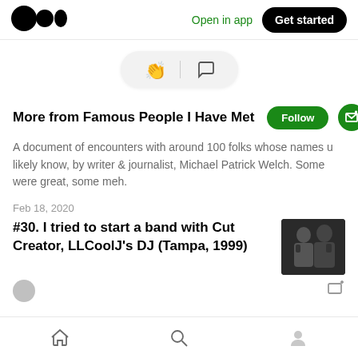[Figure (logo): Medium logo — three filled circles forming the Medium 'M' icon]
Open in app
Get started
[Figure (other): Action bar with clapping hands emoji and speech bubble/comment icon, on a light grey pill-shaped background]
More from Famous People I Have Met
Follow
A document of encounters with around 100 folks whose names u likely know, by writer & journalist, Michael Patrick Welch. Some were great, some meh.
Feb 18, 2020
#30. I tried to start a band with Cut Creator, LLCoolJ's DJ (Tampa, 1999)
[Figure (photo): Black and white thumbnail photo of two people, likely Cut Creator and LL Cool J]
Home | Search | Profile